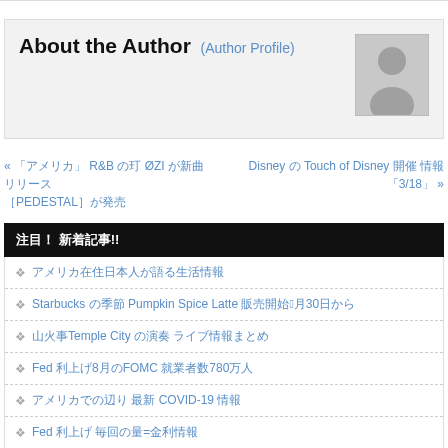About the Author (Author Profile)
[Figure (illustration): Generic author avatar placeholder image - gray silhouette of a person on light gray background]
« [prev link] R&B [text] ØZI [text] [text] [PEDESTAL text] »
Disney [text] Touch of Disney [text] [text] 3/18 »
[text]! [text]!!
[Japanese text link 1]
Starbucks [text] Pumpkin Spice Latte [text]8[text]30[text]
[text]Temple City [text] [text]
Fed [text]8[text] [text]780[text]
[text] COVID-19 [text]
Fed [text] [text]=[text]
[text] [text]
NASA [text] [text]